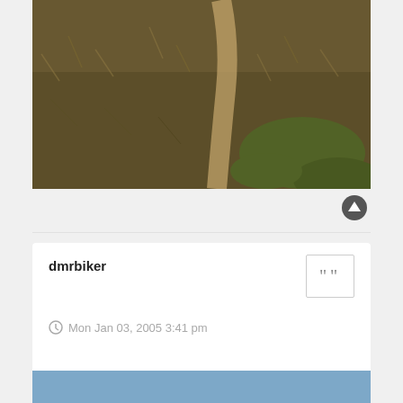[Figure (photo): A hillside covered in dried brown and green grass with a faint dirt trail running diagonally through it.]
dmrbiker
Mon Jan 03, 2005 3:41 pm
[Figure (photo): Partial photo showing a blue sky, cropped at bottom of page.]